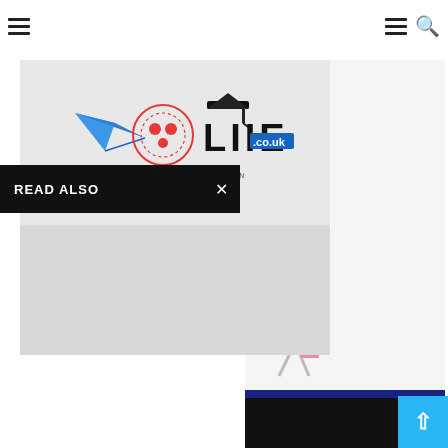Navigation bar with hamburger menus and search icon
[Figure (logo): LIIE (London Investment Immigration Education) logo with paper plane and globe icon, .co.uk domain, on grey background]
READ ALSO
[Figure (infographic): Partial card showing text: LICENSE CONTACT, phone number ending 42466, person figure, URL liie.co.uk]